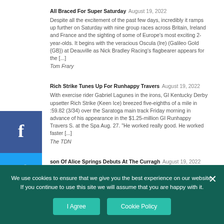All Braced For Super Saturday August 19, 2022
Despite all the excitement of the past few days, incredibly it ramps up further on Saturday with nine group races across Britain, Ireland and France and the sighting of some of Europe's most exciting 2-year-olds. It begins with the veracious Oscula (Ire) (Galileo Gold {GB}) at Deauville as Nick Bradley Racing's flagbearer appears for the [...]
Tom Frary
Rich Strike Tunes Up For Runhappy Travers August 19, 2022
With exercise rider Gabriel Lagunes in the irons, GI Kentucky Derby upsetter Rich Strike (Keen Ice) breezed five-eighths of a mile in :59.82 (3/34) over the Saratoga main track Friday morning in advance of his appearance in the $1.25-million GI Runhappy Travers S. at the Spa Aug. 27. "He worked really good. He worked faster [...]
The TDN
son Of Alice Springs Debuts At The Curragh August 19, 2022
Observations on the European Racing Scene turns the spotlight on the best European races of the day, highlighting well-pedigreed horses early in their careers, horses of note returning to action and
We use cookies to ensure that we give you the best experience on our website. If you continue to use this site we will assume that you are happy with it.
I Agree
Cookie Policy